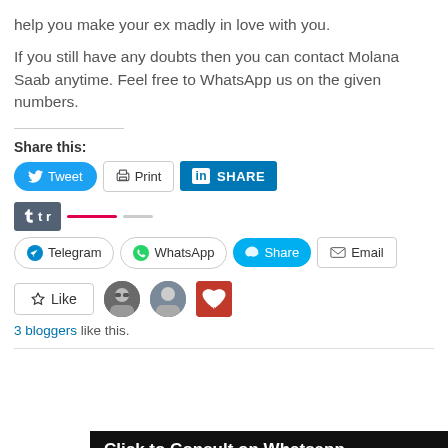help you make your ex madly in love with you.
If you still have any doubts then you can contact Molana Saab anytime. Feel free to WhatsApp us on the given numbers.
Share this:
[Figure (screenshot): Social sharing buttons row: Tweet (Twitter), Print, LinkedIn Share, and a partially visible Tumblr button, overlaid by a dark banner reading 'Click to Consult on Whatsapp']
[Figure (screenshot): Second row of social sharing buttons: Telegram, WhatsApp, Skype Share, Email]
[Figure (screenshot): Like button with 3 blogger avatars and text '3 bloggers like this.']